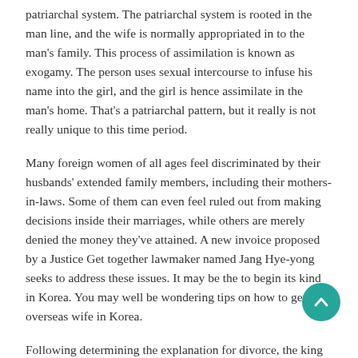patriarchal system. The patriarchal system is rooted in the man line, and the wife is normally appropriated in to the man's family. This process of assimilation is known as exogamy. The person uses sexual intercourse to infuse his name into the girl, and the girl is hence assimilate in the man's home. That's a patriarchal pattern, but it really is not really unique to this time period.
Many foreign women of all ages feel discriminated by their husbands' extended family members, including their mothers-in-laws. Some of them can even feel ruled out from making decisions inside their marriages, while others are merely denied the money they've attained. A new invoice proposed by a Justice Get together lawmaker named Jang Hye-yong seeks to address these issues. It may be the to begin its kind in Korea. You may well be wondering tips on how to get a overseas wife in Korea.
Following determining the explanation for divorce, the king then orders Ezra to enforce it. In addition , he orders the priests and Levites to disgorge foreign wives or girlfriends. Ultimately, this